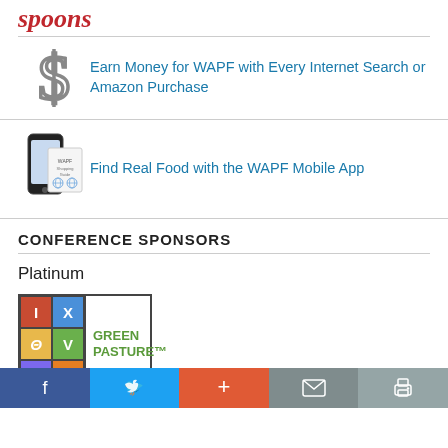spoons
Earn Money for WAPF with Every Internet Search or Amazon Purchase
Find Real Food with the WAPF Mobile App
CONFERENCE SPONSORS
Platinum
[Figure (logo): Green Pasture logo with colorful grid and text GREEN PASTURE™]
Social share bar: Facebook, Twitter, Plus, Mail, Print